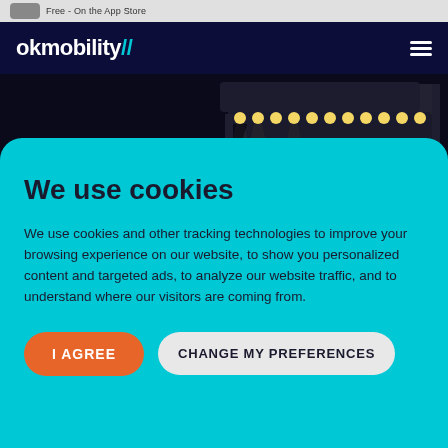Free - On the App Store
[Figure (screenshot): OKMobility navigation bar with white logo on dark navy background and hamburger menu]
[Figure (photo): Nighttime photo of an illuminated stage structure with bright lights]
We use cookies
We use cookies and other tracking technologies to improve your browsing experience on our website, to show you personalized content and targeted ads, to analyze our website traffic, and to understand where our visitors are coming from.
I AGREE
CHANGE MY PREFERENCES